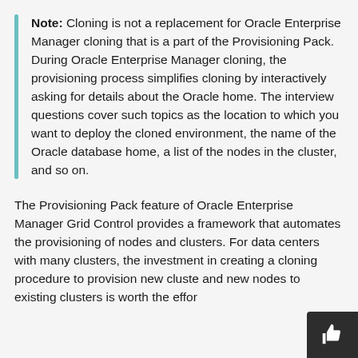Note: Cloning is not a replacement for Oracle Enterprise Manager cloning that is a part of the Provisioning Pack. During Oracle Enterprise Manager cloning, the provisioning process simplifies cloning by interactively asking for details about the Oracle home. The interview questions cover such topics as the location to which you want to deploy the cloned environment, the name of the Oracle database home, a list of the nodes in the cluster, and so on.
The Provisioning Pack feature of Oracle Enterprise Manager Grid Control provides a framework that automates the provisioning of nodes and clusters. For data centers with many clusters, the investment in creating a cloning procedure to provision new clusters and new nodes to existing clusters is worth the effort.